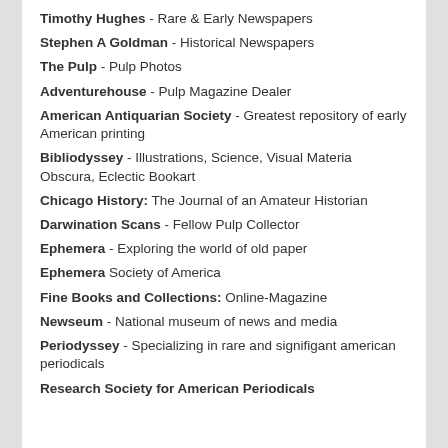Timothy Hughes - Rare & Early Newspapers
Stephen A Goldman - Historical Newspapers
The Pulp - Pulp Photos
Adventurehouse - Pulp Magazine Dealer
American Antiquarian Society - Greatest repository of early American printing
Bibliodyssey - Illustrations, Science, Visual Materia Obscura, Eclectic Bookart
Chicago History: The Journal of an Amateur Historian
Darwination Scans - Fellow Pulp Collector
Ephemera - Exploring the world of old paper
Ephemera Society of America
Fine Books and Collections: Online-Magazine
Newseum - National museum of news and media
Periodyssey - Specializing in rare and signifigant american periodicals
Research Society for American Periodicals